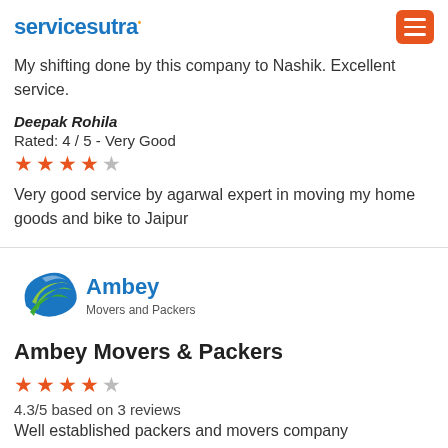servicesutra [menu button]
My shifting done by this company to Nashik. Excellent service.
Deepak Rohila
Rated: 4 / 5 - Very Good
★★★★☆
Very good service by agarwal expert in moving my home goods and bike to Jaipur
[Figure (logo): Ambey Movers and Packers logo with blue/green swoosh and text]
Ambey Movers & Packers
★★★★☆
4.3/5 based on 3 reviews
Well established packers and movers company